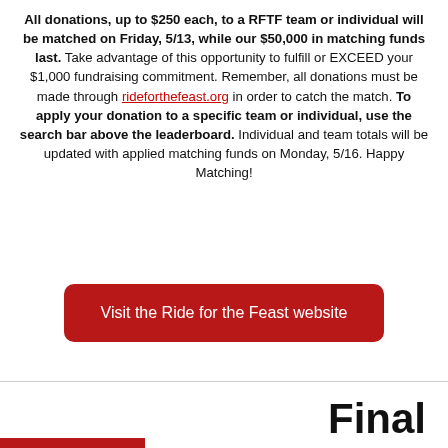All donations, up to $250 each, to a RFTF team or individual will be matched on Friday, 5/13, while our $50,000 in matching funds last. Take advantage of this opportunity to fulfill or EXCEED your $1,000 fundraising commitment. Remember, all donations must be made through rideforthefeast.org in order to catch the match. To apply your donation to a specific team or individual, use the search bar above the leaderboard. Individual and team totals will be updated with applied matching funds on Monday, 5/16. Happy Matching!
Visit the Ride for the Feast website
Final